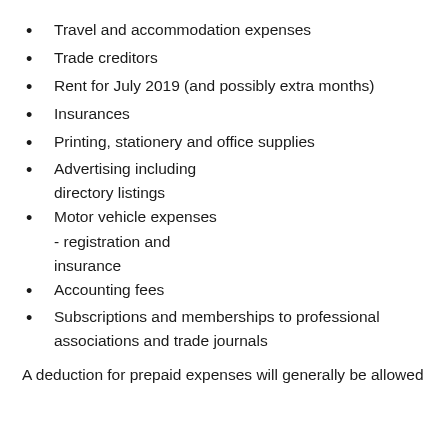Travel and accommodation expenses
Trade creditors
Rent for July 2019 (and possibly extra months)
Insurances
Printing, stationery and office supplies
Advertising including directory listings
Motor vehicle expenses - registration and insurance
Accounting fees
Subscriptions and memberships to professional associations and trade journals
A deduction for prepaid expenses will generally be allowed